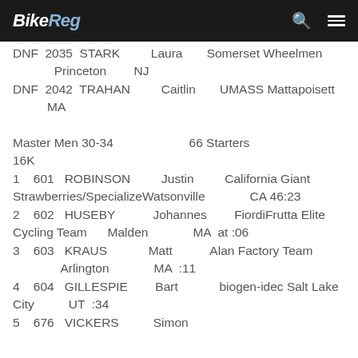BikeReg
DNF 2035 STARK Laura Somerset Wheelmen Princeton NJ
DNF 2042 TRAHAN Caitlin UMASS Mattapoisett MA
Master Men 30-34  66 Starters  16K
1  601  ROBINSON  Justin  California Giant Strawberries/SpecializeWatsonville  CA  46:23
2  602  HUSEBY  Johannes  FiordiFrutta Elite Cycling Team  Malden  MA  at :06
3  603  KRAUS  Matt  Alan Factory Team  Arlington  MA  :11
4  604  GILLESPIE  Bart  biogen-idec Salt Lake City  UT  :34
5  676  VICKERS  Simon